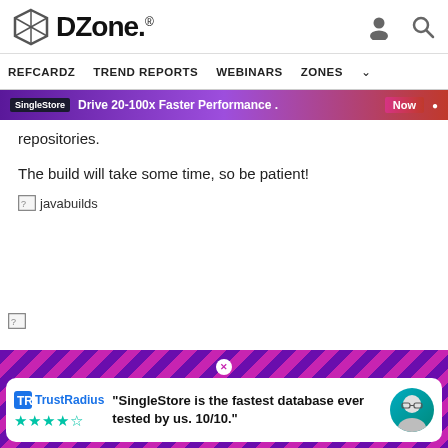DZone. [user icon] [search icon]
REFCARDZ   TREND REPORTS   WEBINARS   ZONES
[Figure (screenshot): SingleStore advertisement banner: 'Drive 20-100x Faster Performance']
repositories.
The build will take some time, so be patient!
[Figure (screenshot): Broken image placeholder labeled 'javabuilds']
[Figure (screenshot): SingleStore TrustRadius advertisement popup: 'SingleStore is the fastest database ever tested by us. 10/10.' with TrustRadius logo and star rating]